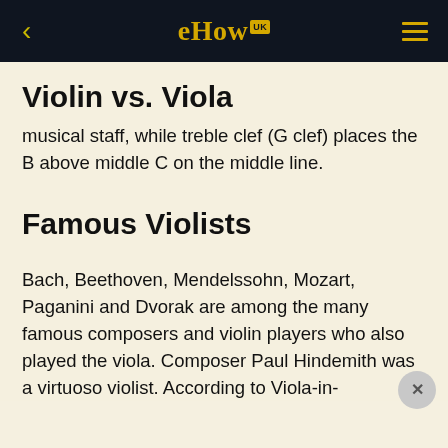eHow UK
Violin vs. Viola
musical staff, while treble clef (G clef) places the B above middle C on the middle line.
Famous Violists
Bach, Beethoven, Mendelssohn, Mozart, Paganini and Dvorak are among the many famous composers and violin players who also played the viola. Composer Paul Hindemith was a virtuoso violist. According to Viola-in-